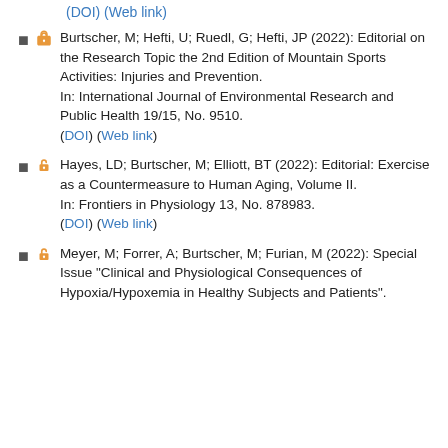(DOI) (Web link)
Burtscher, M; Hefti, U; Ruedl, G; Hefti, JP (2022): Editorial on the Research Topic the 2nd Edition of Mountain Sports Activities: Injuries and Prevention. In: International Journal of Environmental Research and Public Health 19/15, No. 9510. (DOI) (Web link)
Hayes, LD; Burtscher, M; Elliott, BT (2022): Editorial: Exercise as a Countermeasure to Human Aging, Volume II. In: Frontiers in Physiology 13, No. 878983. (DOI) (Web link)
Meyer, M; Forrer, A; Burtscher, M; Furian, M (2022): Special Issue "Clinical and Physiological Consequences of Hypoxia/Hypoxemia in Healthy Subjects and Patients".